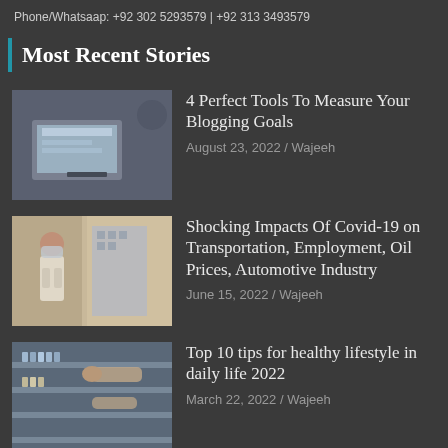Phone/Whatsaap: +92 302 5293579 | +92 313 3493579
Most Recent Stories
[Figure (photo): Laptop on a desk, blogger tools image]
4 Perfect Tools To Measure Your Blogging Goals
August 23, 2022 / Wajeeh
[Figure (photo): Woman wearing mask on street, covid transportation image]
Shocking Impacts Of Covid-19 on Transportation, Employment, Oil Prices, Automotive Industry
June 15, 2022 / Wajeeh
[Figure (photo): Person in supermarket aisle, healthy lifestyle image]
Top 10 tips for healthy lifestyle in daily life 2022
March 22, 2022 / Wajeeh
[Figure (photo): Woman with fruits in hair, beauty without makeup image]
how to grow your face beautiful without makeup 2022
March 22, 2022 / Wajeeh
[Figure (photo): Dark image, games and mind image]
7 Amazing Aspects Games are Good For Your Mind